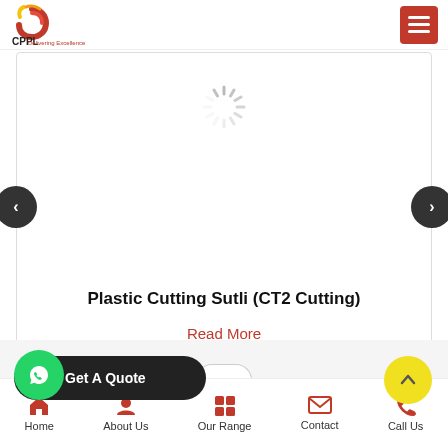[Figure (logo): CPPL company logo with red and yellow spiral graphic and text]
[Figure (other): Hamburger menu icon on red background in top right]
[Figure (other): Loading spinner graphic in center of white slider area]
[Figure (other): Left arrow navigation button (dark circle with <)]
[Figure (other): Right arrow navigation button (dark circle with >)]
Plastic Cutting Sutli (CT2 Cutting)
Read More
[Figure (other): WhatsApp green circular button with chat icon]
[Figure (other): Get A Quote dark pill-shaped button with red envelope icon]
[Figure (other): Yellow circular scroll-up arrow button]
[Figure (other): Footer navigation bar with Home, About Us, Our Range, Contact, Call Us icons and labels in red]